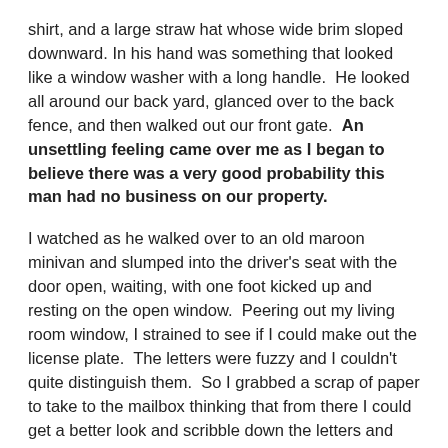shirt, and a large straw hat whose wide brim sloped downward. In his hand was something that looked like a window washer with a long handle.  He looked all around our back yard, glanced over to the back fence, and then walked out our front gate.  An unsettling feeling came over me as I began to believe there was a very good probability this man had no business on our property.
I watched as he walked over to an old maroon minivan and slumped into the driver's seat with the door open, waiting, with one foot kicked up and resting on the open window.  Peering out my living room window, I strained to see if I could make out the license plate.  The letters were fuzzy and I couldn't quite distinguish them.  So I grabbed a scrap of paper to take to the mailbox thinking that from there I could get a better look and scribble down the letters and numbers on the paper.  As I walked toward the end of the driveway, the man quickly closed the car door, started up the engine and drove away.  I began to run - trying one more time to get a look at the license plate, but the car just went faster.